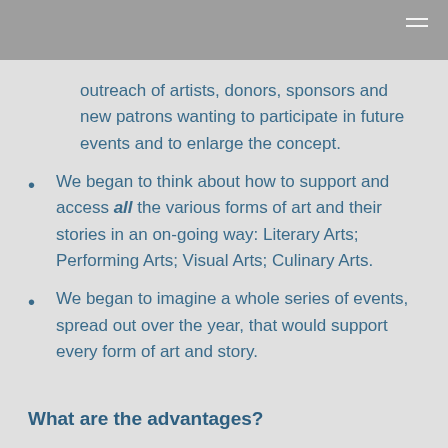outreach of artists, donors, sponsors and new patrons wanting to participate in future events and to enlarge the concept.
We began to think about how to support and access all the various forms of art and their stories in an on-going way: Literary Arts; Performing Arts; Visual Arts; Culinary Arts.
We began to imagine a whole series of events, spread out over the year, that would support every form of art and story.
What are the advantages?